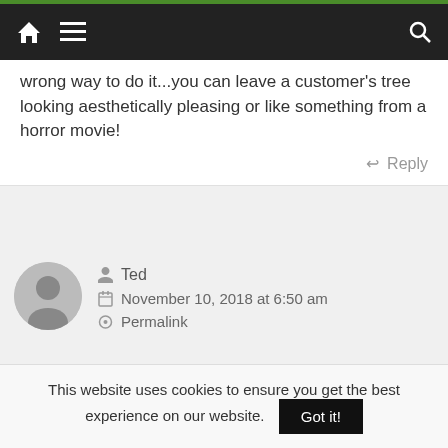Navigation bar with home, menu, and search icons
wrong way to do it...you can leave a customer's tree looking aesthetically pleasing or like something from a horror movie!
Reply
Ted
November 10, 2018 at 6:50 am
Permalink
Not many palms here in Solihull, but interesting to read nonetheless.
This website uses cookies to ensure you get the best experience on our website. Got it!